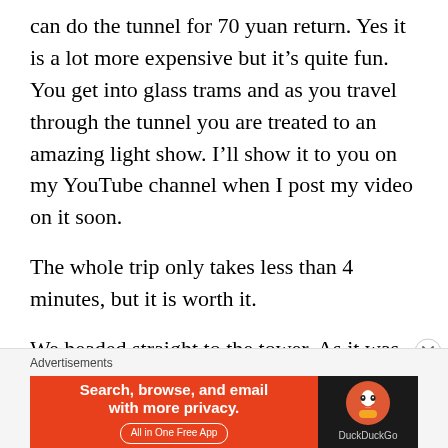can do the tunnel for 70 yuan return. Yes it is a lot more expensive but it's quite fun. You get into glass trams and as you travel through the tunnel you are treated to an amazing light show. I'll show it to you on my YouTube channel when I post my video on it soon.
The whole trip only takes less than 4 minutes, but it is worth it.
We headed straight to the tower. As it was early – around 9.30 am there was only 1 person in the queue before us. The entrance fee is 220 yuan each. It seems a lot but it is absolutely worth it.
Advertisements
[Figure (other): DuckDuckGo advertisement banner: orange left side with text 'Search, browse, and email with more privacy. All in One Free App' and dark right side with DuckDuckGo logo]